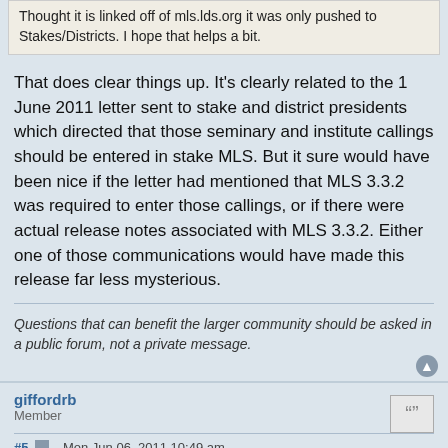Thought it is linked off of mls.lds.org it was only pushed to Stakes/Districts. I hope that helps a bit.
That does clear things up. It's clearly related to the 1 June 2011 letter sent to stake and district presidents which directed that those seminary and institute callings should be entered in stake MLS. But it sure would have been nice if the letter had mentioned that MLS 3.3.2 was required to enter those callings, or if there were actual release notes associated with MLS 3.3.2. Either one of those communications would have made this release far less mysterious.
Questions that can benefit the larger community should be asked in a public forum, not a private message.
giffordrb
Member
#5   Mon Jun 06, 2011 10:49 am
You are right about the June letter - this release was in response to it. Though it was a small change - release notes should have been included. I think when the letter went out it was assumed that MLS already had support for those callings. Either way though - release